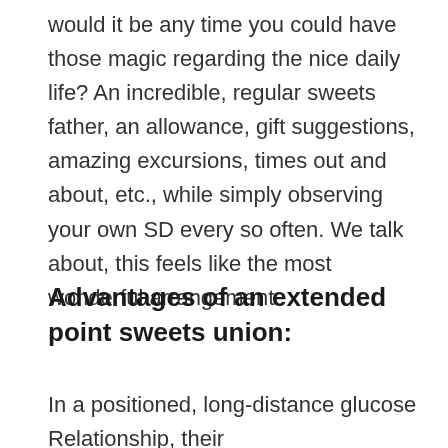would it be any time you could have those magic regarding the nice daily life? An incredible, regular sweets father, an allowance, gift suggestions, amazing excursions, times out and about, etc., while simply observing your own SD every so often. We talk about, this feels like the most wonderful arrangement.
Advantages of an extended point sweets union:
In a positioned, long-distance glucose Relationship, their